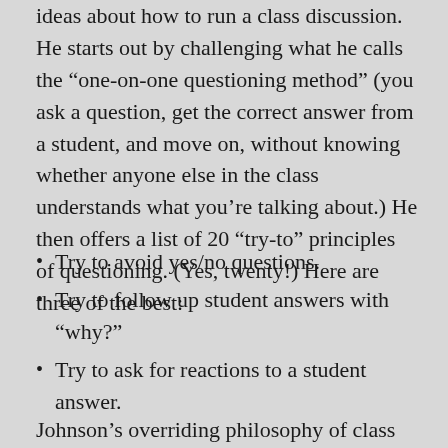ideas about how to run a class discussion. He starts out by challenging what he calls the “one-on-one questioning method” (you ask a question, get the correct answer from a student, and move on, without knowing whether anyone else in the class understands what you’re talking about.) He then offers a list of 20 “try-to” principles of questioning. (Yes, twenty!) Here are three of the best:
Try to avoid yes/no questions.
Try to follow up student answers with “why?”
Try to ask for reactions to a student answer.
Johnson’s overriding philosophy of class discussion is two-fold: on the one hand, the